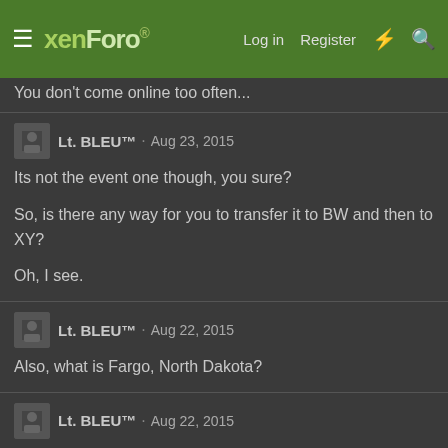xenForo · Log in · Register
You don't come online too often...
Lt. BLEU™ · Aug 23, 2015
Its not the event one though, you sure?

So, is there any way for you to transfer it to BW and then to XY?

Oh, I see.
Lt. BLEU™ · Aug 22, 2015
Also, what is Fargo, North Dakota?
Lt. BLEU™ · Aug 22, 2015
I could give you a shiny Beldum if you want. I have the non event one. The event one though evolved into a Metagross if you want it...